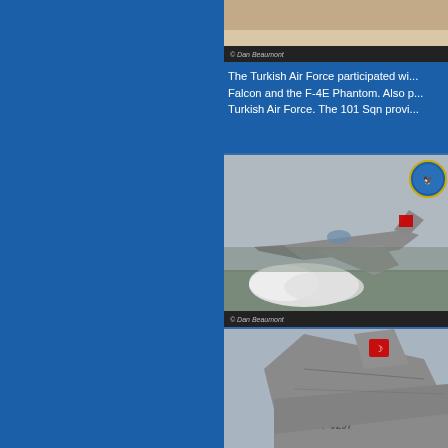[Figure (photo): Top partial photo strip of aircraft on sandy/beige background with photographer credit caption]
© Dan Beaumont
The Turkish Air Force participated wi... Falcon and the F-4E Phantom. Also p... Turkish Air Force. The 101 Sqn provi...
[Figure (photo): F-16 Fighting Falcon jet on runway with smoke/tire smoke, Turkish Air Force markings with red crescent on tail, squadron badge in top right corner]
© Dan Beaumont
[Figure (photo): Close-up of aircraft tail section showing tail number 77-0297 with Turkish red crescent marking on grey aircraft]